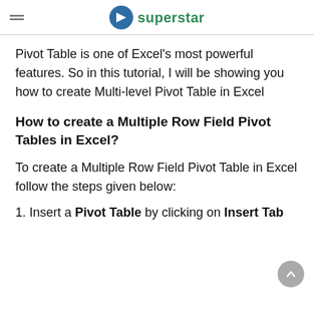Excel superstar
Pivot Table is one of Excel's most powerful features. So in this tutorial, I will be showing you how to create Multi-level Pivot Table in Excel
How to create a Multiple Row Field Pivot Tables in Excel?
To create a Multiple Row Field Pivot Table in Excel follow the steps given below:
1. Insert a Pivot Table by clicking on Insert Tab